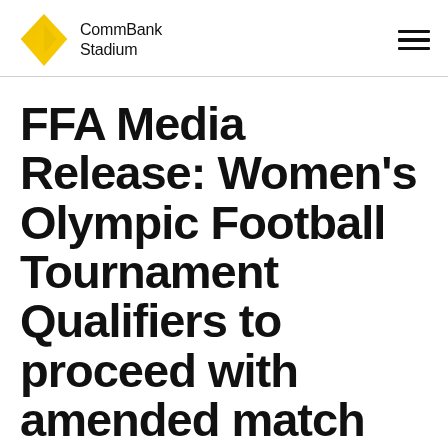[Figure (logo): CommBank Stadium logo: yellow diamond shape with CommBank Stadium text]
FFA Media Release: Women's Olympic Football Tournament Qualifiers to proceed with amended match schedule